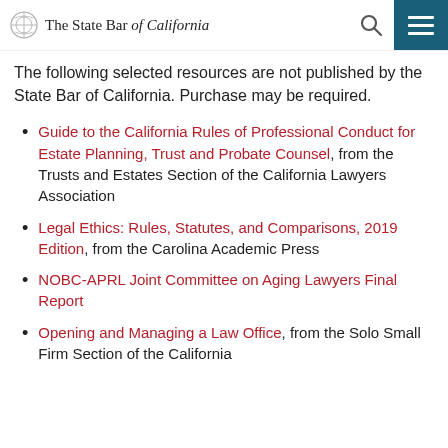The State Bar of California
The following selected resources are not published by the State Bar of California. Purchase may be required.
Guide to the California Rules of Professional Conduct for Estate Planning, Trust and Probate Counsel, from the Trusts and Estates Section of the California Lawyers Association
Legal Ethics: Rules, Statutes, and Comparisons, 2019 Edition, from the Carolina Academic Press
NOBC-APRL Joint Committee on Aging Lawyers Final Report
Opening and Managing a Law Office, from the Solo Small Firm Section of the California